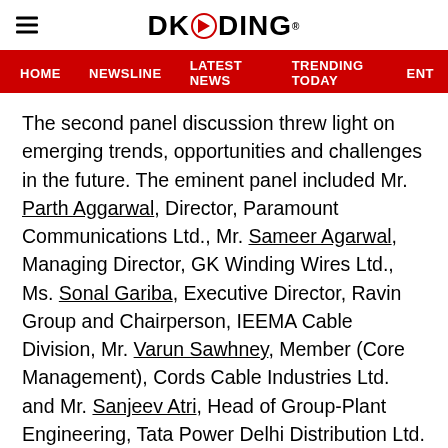DKODING
HOME  NEWSLINE  LATEST NEWS  TRENDING TODAY  ENT
The second panel discussion threw light on emerging trends, opportunities and challenges in the future. The eminent panel included Mr. Parth Aggarwal, Director, Paramount Communications Ltd., Mr. Sameer Agarwal, Managing Director, GK Winding Wires Ltd., Ms. Sonal Gariba, Executive Director, Ravin Group and Chairperson, IEEMA Cable Division, Mr. Varun Sawhney, Member (Core Management), Cords Cable Industries Ltd. and Mr. Sanjeev Atri, Head of Group-Plant Engineering, Tata Power Delhi Distribution Ltd. (TPDDL).